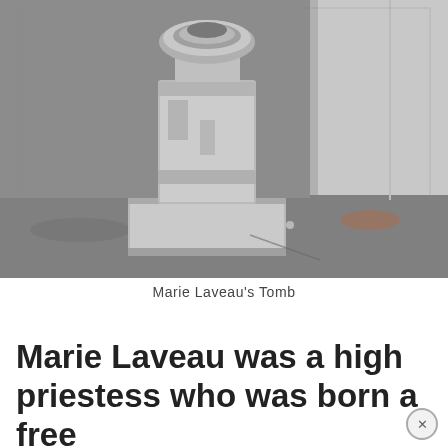[Figure (photo): Photograph of Marie Laveau's Tomb — a weathered, whitish-gray concrete or plaster tomb/pedestal structure with a circular basin or ring at the top, standing against a wall with a concrete floor. The tomb shows age and wear with dark staining and cracks.]
Marie Laveau’s Tomb
Marie Laveau was a high priestess who was born a free woman of color in New Orleans